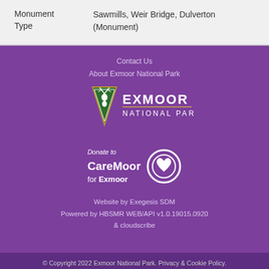| Monument Type |  |
| --- | --- |
| Monument
Type | Sawmills, Weir Bridge, Dulverton
(Monument) |
[Figure (logo): Exmoor National Park logo with green triangle/shield containing a deer silhouette and text EXMOOR NATIONAL PARK]
Contact Us
About Exmoor National Park
[Figure (logo): CareMoor for Exmoor donate logo with heart circle icon]
Donate to CareMoor for Exmoor
Website by Exegesis SDM
Powered by HBSMR WEB/API v1.0.19015.0920
& cloudscribe
© Copyright 2022 Exmoor National Park. Privacy & Cookie Policy.